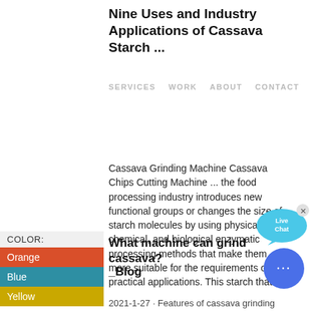Nine Uses and Industry Applications of Cassava Starch ...
SERVICES  WORK  ABOUT  CONTACT
Cassava Grinding Machine Cassava Chips Cutting Machine ... the food processing industry introduces new functional groups or changes the size of starch molecules by using physical, chemical, and biological enzymatic processing methods that make them more suitable for the requirements of practical applications. This starch that...
[Figure (other): Live Chat button with blue speech bubble icon and x close button]
What machine can grind cassava?
_Blog
[Figure (other): Color swatches sidebar: COLOR label, Orange swatch, Blue swatch, Yellow swatch]
[Figure (other): Blue circular chat button with three dots]
2021-1-27 · Features of cassava grinding